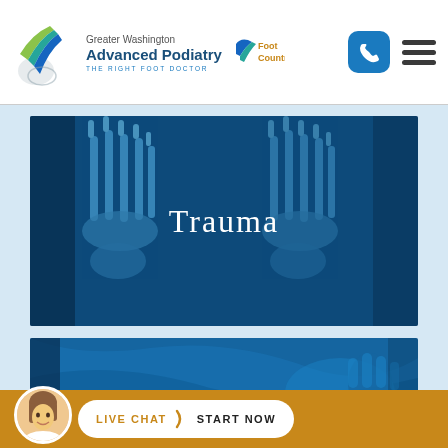[Figure (logo): Greater Washington Advanced Podiatry logo with stylized foot graphic in blue and green]
[Figure (logo): Foot Country logo with foot icon and orange/gold text]
[Figure (photo): X-ray image of two feet bones (top-down view) with blue tint overlay and 'Trauma' text centered]
Trauma
[Figure (photo): Blue-tinted image of a medical/surgical scene with hand and blue cloth]
[Figure (infographic): Live Chat bar with avatar photo of smiling woman, gold background, white rounded button with 'LIVE CHAT > START NOW']